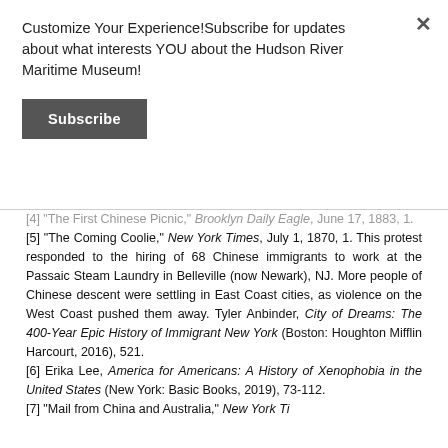Customize Your Experience!Subscribe for updates about what interests YOU about the Hudson River Maritime Museum!
Subscribe
[4] "The First Chinese Picnic," Brooklyn Daily Eagle, June 17, 1883, 1.
[5] "The Coming Coolie," New York Times, July 1, 1870, 1. This protest responded to the hiring of 68 Chinese immigrants to work at the Passaic Steam Laundry in Belleville (now Newark), NJ. More people of Chinese descent were settling in East Coast cities, as violence on the West Coast pushed them away. Tyler Anbinder, City of Dreams: The 400-Year Epic History of Immigrant New York (Boston: Houghton Mifflin Harcourt, 2016), 521.
[6] Erika Lee, America for Americans: A History of Xenophobia in the United States (New York: Basic Books, 2019), 73-112.
[7] "Mail from China and Australia," New York Ti...